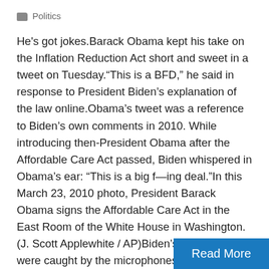Politics
He's got jokes.Barack Obama kept his take on the Inflation Reduction Act short and sweet in a tweet on Tuesday.“This is a BFD,” he said in response to President Biden’s explanation of the law online.Obama’s tweet was a reference to Biden’s own comments in 2010. While introducing then-President Obama after the Affordable Care Act passed, Biden whispered in Obama’s ear: “This is a big f—ing deal.”In this March 23, 2010 photo, President Barack Obama signs the Affordable Care Act in the East Room of the White House in Washington. (J. Scott Applewhite / AP)Biden’s comments were caught by the microphones,…
Read More